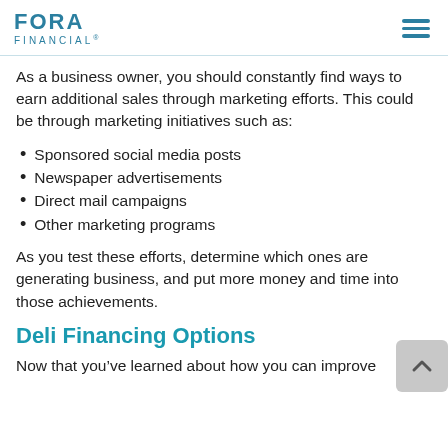FORA FINANCIAL
As a business owner, you should constantly find ways to earn additional sales through marketing efforts. This could be through marketing initiatives such as:
Sponsored social media posts
Newspaper advertisements
Direct mail campaigns
Other marketing programs
As you test these efforts, determine which ones are generating business, and put more money and time into those achievements.
Deli Financing Options
Now that you've learned about how you can improve